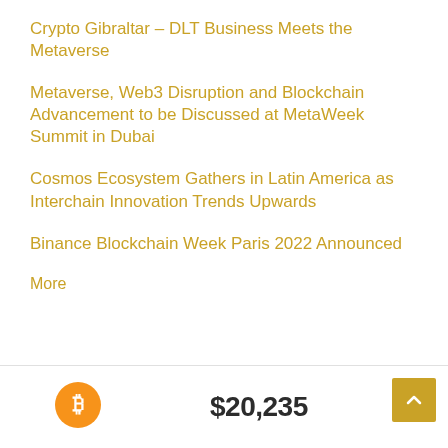Crypto Gibraltar – DLT Business Meets the Metaverse
Metaverse, Web3 Disruption and Blockchain Advancement to be Discussed at MetaWeek Summit in Dubai
Cosmos Ecosystem Gathers in Latin America as Interchain Innovation Trends Upwards
Binance Blockchain Week Paris 2022 Announced
More
[Figure (other): Bitcoin price ticker showing Bitcoin (BTC) logo and price $20,235]